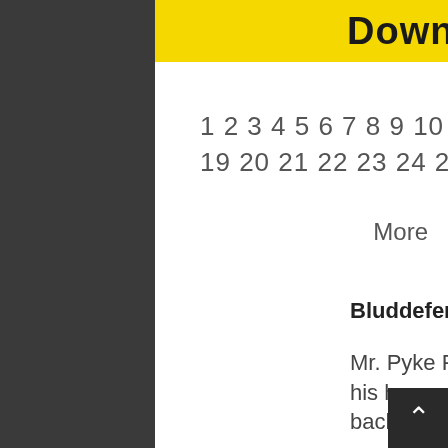[Figure (screenshot): Yellow download button with bold black text 'Download FB2']
1 2 3 4 5 6 7 8 9 10 11 12 13 14 15 16 17 18 19 20 21 22 23 24 25 26 27 28 29 30.
More
Bluddefender
Mr. Pyke Period, a sweet old bachelor is sharing his home with Mr. Harold Cartell, a disagreeable bachelor with an even more disagreeable dog.
The household is not peaceful, and the connections between various relatives and hangers-on are a bit confusing. In the midst of this chaos, Mr. Period brings in a pretty young typist to help him with the book he's writing on etiquette. A young man with artistic ambitions is part of the mixed company, and a flirtation ensues. Which I enjoyed.